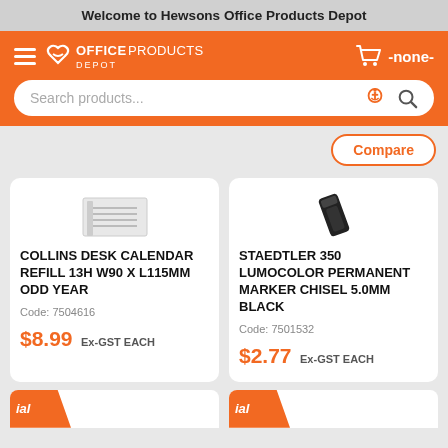Welcome to Hewsons Office Products Depot
[Figure (logo): Office Products Depot logo with hamburger menu and cart icon showing -none-]
Search products...
Compare
[Figure (illustration): Collins Desk Calendar Refill product image]
COLLINS DESK CALENDAR REFILL 13H W90 X L115MM ODD YEAR
Code: 7504616
$8.99 Ex-GST EACH
[Figure (photo): Staedtler 350 Lumocolor Permanent Marker product image]
STAEDTLER 350 LUMOCOLOR PERMANENT MARKER CHISEL 5.0MM BLACK
Code: 7501532
$2.77 Ex-GST EACH